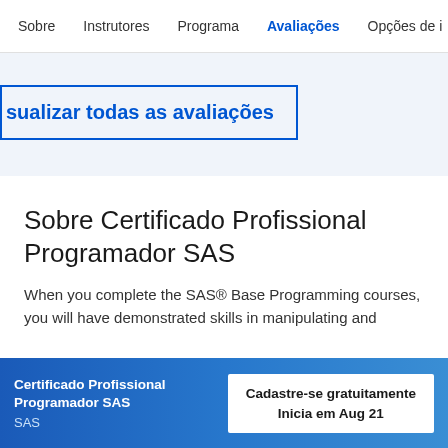Sobre  Instrutores  Programa  Avaliações  Opções de i
sualizar todas as avaliações
Sobre Certificado Profissional Programador SAS
When you complete the SAS® Base Programming courses, you will have demonstrated skills in manipulating and
Certificado Profissional Programador SAS
SAS
Cadastre-se gratuitamente
Inicia em Aug 21